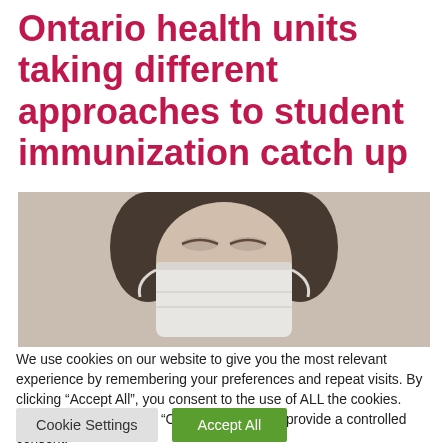Ontario health units taking different approaches to student immunization catch up
[Figure (photo): Close-up photo of a person wearing a white face mask, eyes closed, light background]
We use cookies on our website to give you the most relevant experience by remembering your preferences and repeat visits. By clicking “Accept All”, you consent to the use of ALL the cookies. However, you may visit “Cookie Settings” to provide a controlled consent.
Cookie Settings | Accept All